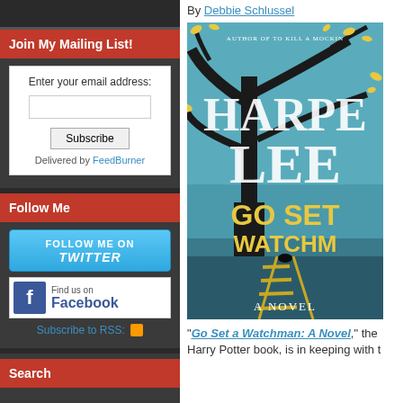Join My Mailing List!
Enter your email address:
Subscribe
Delivered by FeedBurner
Follow Me
FOLLOW ME ON Twitter
Find us on Facebook
Subscribe to RSS:
Search
By Debbie Schlussel
[Figure (illustration): Book cover of 'Go Set a Watchman: A Novel' by Harper Lee — blue/teal background with a bare black tree and train tracks, yellow text for title]
“Go Set a Watchman: A Novel,” the Harry Potter book, is in keeping with t